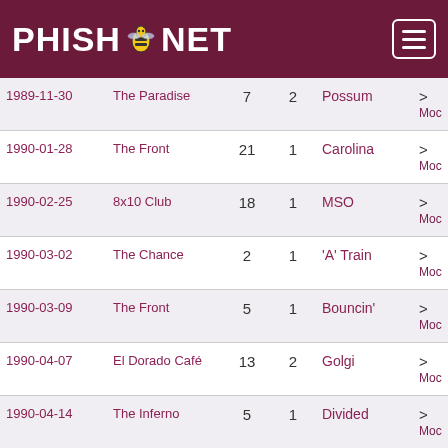PHISH.NET
| Date | Venue | Col3 | Col4 | Song | More |
| --- | --- | --- | --- | --- | --- |
| 1989-11-30 | The Paradise | 7 | 2 | Possum | > Moc |
| 1990-01-28 | The Front | 21 | 1 | Carolina | > Moc |
| 1990-02-25 | 8x10 Club | 18 | 1 | MSO | > Moc |
| 1990-03-02 | The Chance | 2 | 1 | 'A' Train | > Moc |
| 1990-03-09 | The Front | 5 | 1 | Bouncin' | > Moc |
| 1990-04-07 | El Dorado Café | 13 | 2 | Golgi | > Moc |
| 1990-04-14 | The Inferno | 5 | 1 | Divided | > Moc |